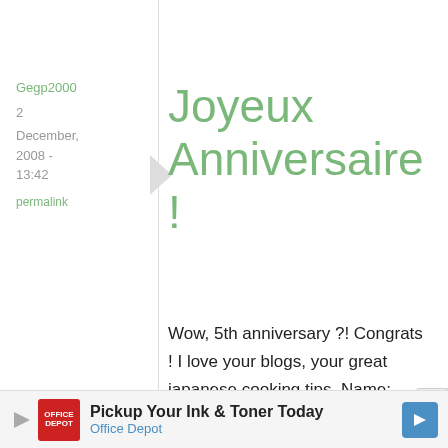Gegp2000
2
December, 2008 - 13:42
permalink
Joyeux Anniversaire !
Wow, 5th anniversary ?! Congrats ! I love your blogs, your great japanese cooking tips. Name: Géraldine (aka Gegp2000)
Pickup Your Ink & Toner Today Office Depot